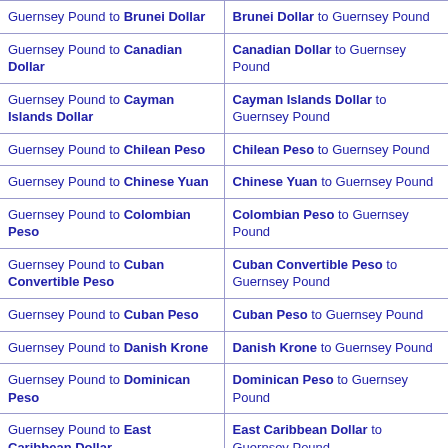| Left | Right |
| --- | --- |
| Guernsey Pound to Brunei Dollar | Brunei Dollar to Guernsey Pound |
| Guernsey Pound to Canadian Dollar | Canadian Dollar to Guernsey Pound |
| Guernsey Pound to Cayman Islands Dollar | Cayman Islands Dollar to Guernsey Pound |
| Guernsey Pound to Chilean Peso | Chilean Peso to Guernsey Pound |
| Guernsey Pound to Chinese Yuan | Chinese Yuan to Guernsey Pound |
| Guernsey Pound to Colombian Peso | Colombian Peso to Guernsey Pound |
| Guernsey Pound to Cuban Convertible Peso | Cuban Convertible Peso to Guernsey Pound |
| Guernsey Pound to Cuban Peso | Cuban Peso to Guernsey Pound |
| Guernsey Pound to Danish Krone | Danish Krone to Guernsey Pound |
| Guernsey Pound to Dominican Peso | Dominican Peso to Guernsey Pound |
| Guernsey Pound to East Caribbean Dollar | East Caribbean Dollar to Guernsey Pound |
| Guernsey Pound to Egyptian Pound | Egyptian Pound to Guernsey Pound |
| Guernsey Pound to Euro | Euro to Guernsey Pound |